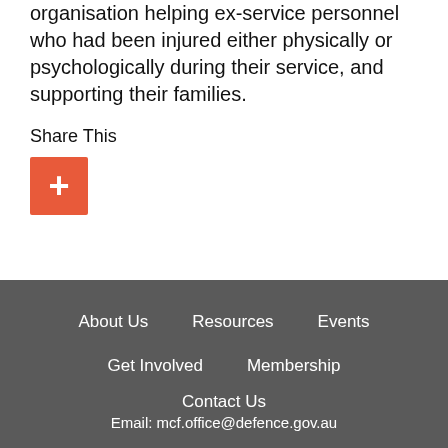organisation helping ex-service personnel who had been injured either physically or psychologically during their service, and supporting their families.
Share This
[Figure (other): Red/orange square button with white plus (+) symbol for sharing]
About Us   Resources   Events   Get Involved   Membership   Contact Us   Email: mcf.office@defence.gov.au